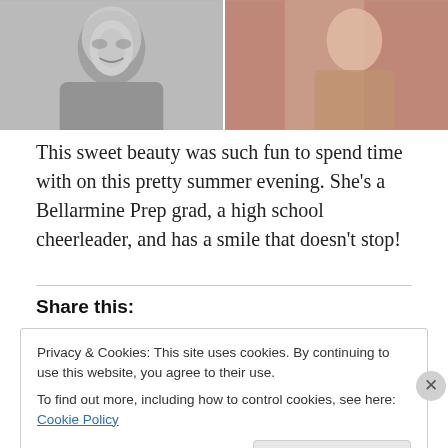[Figure (photo): Two side-by-side photos: left is a black-and-white portrait of a young woman with long hair smiling; right is a color photo of a young woman in a floral dress]
This sweet beauty was such fun to spend time with on this pretty summer evening. She's a Bellarmine Prep grad, a high school cheerleader, and has a smile that doesn't stop!
Share this:
Privacy & Cookies: This site uses cookies. By continuing to use this website, you agree to their use.
To find out more, including how to control cookies, see here: Cookie Policy